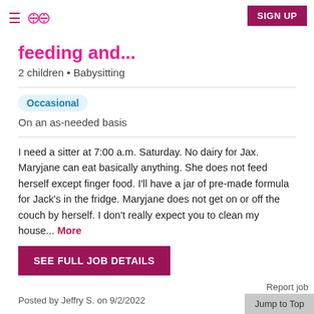≡ ∞∞ SIGN UP
feeding and...
2 children • Babysitting
Occasional
On an as-needed basis
I need a sitter at 7:00 a.m. Saturday. No dairy for Jax. Maryjane can eat basically anything. She does not feed herself except finger food. I'll have a jar of pre-made formula for Jack's in the fridge. Maryjane does not get on or off the couch by herself. I don't really expect you to clean my house... More
SEE FULL JOB DETAILS
Posted by Jeffry S. on 9/2/2022
Report job
Jump to Top